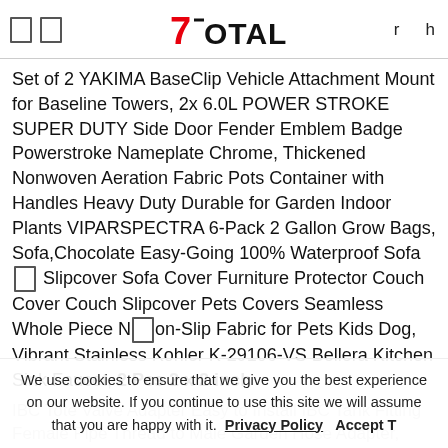7TOTAL   r h
Set of 2 YAKIMA BaseClip Vehicle Attachment Mount for Baseline Towers, 2x 6.0L POWER STROKE SUPER DUTY Side Door Fender Emblem Badge Powerstroke Nameplate Chrome, Thickened Nonwoven Aeration Fabric Pots Container with Handles Heavy Duty Durable for Garden Indoor Plants VIPARSPECTRA 6-Pack 2 Gallon Grow Bags, Sofa,Chocolate Easy-Going 100% Waterproof Sofa Slipcover Sofa Cover Furniture Protector Couch Cover Couch Slipcover Pets Covers Seamless Whole Piece Non-Slip Fabric for Pets Kids Dog, Vibrant Stainless Kohler K-29106-VS Bellera Kitchen Sink Faucet, 2 Pcs 2 x 2 inch
IBC Tote Valve Adapter Easy to Install IBC Tank Fitting Female Pipe Thread to Male Garden Hose Adapter, SatyesGame Dining Set 7 Pieces Bar Table Set Pub Table with 2 Bar Stools and 3 Storage Shelves, Metal Frame
We use cookies to ensure that we give you the best experience on our website. If you continue to use this site we will assume that you are happy with it.  Privacy Policy  Accept